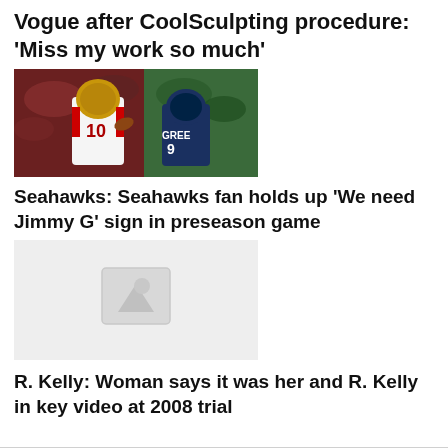Vogue after CoolSculpting procedure: 'Miss my work so much'
[Figure (photo): NFL game photo showing a San Francisco 49ers quarterback in white uniform with number 10 about to throw, and a Seattle Seahawks player in dark uniform with GREE visible on jersey]
Seahawks: Seahawks fan holds up ‘We need Jimmy G’ sign in preseason game
[Figure (photo): Placeholder image with grey background and a white image icon in center]
R. Kelly: Woman says it was her and R. Kelly in key video at 2008 trial